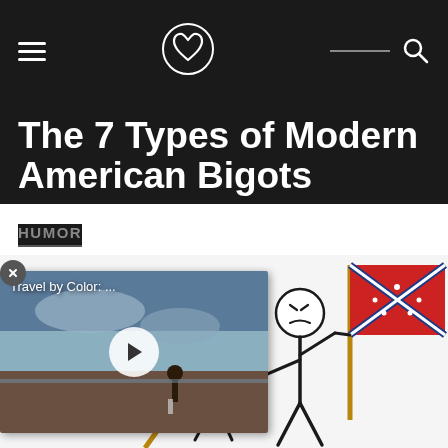Navigation header with hamburger menu, logo, and search icon
The 7 Types of Modern American Bigots
HUMOR
[Figure (illustration): Stick figure illustration showing two angry stick figures, one holding a Confederate flag on a pole. A video thumbnail overlay shows a beach scene with a play button and caption 'Travel by Color: ...']